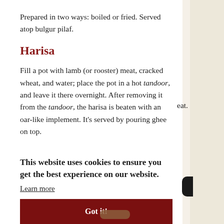Prepared in two ways: boiled or fried. Served atop bulgur pilaf.
Harisa
Fill a pot with lamb (or rooster) meat, cracked wheat, and water; place the pot in a hot tandoor, and leave it there overnight. After removing it from the tandoor, the harisa is beaten with an oar-like implement. It's served by pouring ghee on top.
This website uses cookies to ensure you get the best experience on our website.
Learn more
Got it!